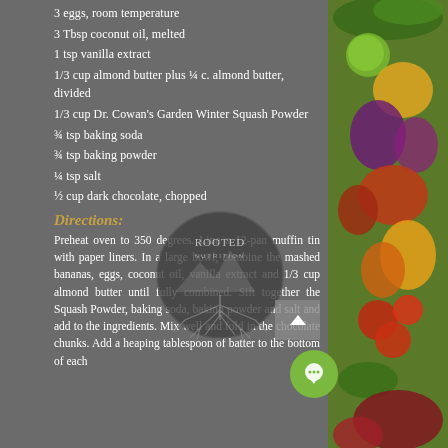3 eggs, room temperature
3 Tbsp coconut oil, melted
1 tsp vanilla extract
1/3 cup almond butter plus ¼ c. almond butter, divided
1/3 cup Dr. Cowan's Garden Winter Squash Powder
¾ tsp baking soda
¾ tsp baking powder
¼ tsp salt
½ cup dark chocolate, chopped
Directions:
Preheat oven to 350 degrees. Line a 12-pan muffin tin with paper liners. In a large bowl, combine the mashed bananas, eggs, coconut oil, vanilla extract and 1/3 cup almond butter until fully combined. Sift together the Squash Powder, baking soda, baking powder and salt and add to the ingredients. Mix well and fold in the chocolate chunks. Add a heaping tablespoon of batter to the bottom of each
[Figure (logo): Rooted Nutrition circular logo with tree roots design]